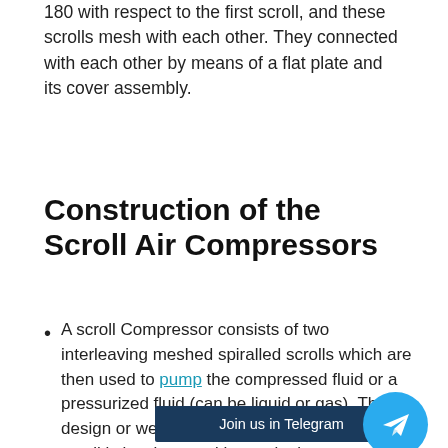180 with respect to the first scroll, and these scrolls mesh with each other. They connected with each other by means of a flat plate and its cover assembly.
Construction of the Scroll Air Compressors
A scroll Compressor consists of two interleaving meshed spiralled scrolls which are then used to pump the compressed fluid or a pressurized fluid (can be liquid or gas). The design or we can say the geometry of the scroll is involute, and hence it gives accuracy in d...